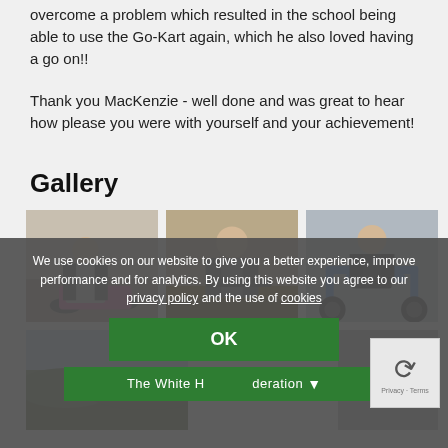overcome a problem which resulted in the school being able to use the Go-Kart again, which he also loved having a go on!!
Thank you MacKenzie - well done and was great to hear how please you were with yourself and your achievement!
Gallery
[Figure (photo): Boy leaning over a small pink/colourful kart on a sandy/concrete surface, with a blue quad bike in the background]
[Figure (photo): Boy leaning over a workbench using a tool, indoors in a workshop]
[Figure (photo): Boy bending over a blue go-kart frame with wheels, on a concrete surface]
[Figure (photo): Outdoor scene, grassy/muddy landscape, partially visible, bottom row left]
[Figure (photo): Partially visible photo at bottom right, obscured by cookie overlay]
We use cookies on our website to give you a better experience, improve performance and for analytics. By using this website you agree to our privacy policy and the use of cookies
OK
The White H[orse Fe]deration